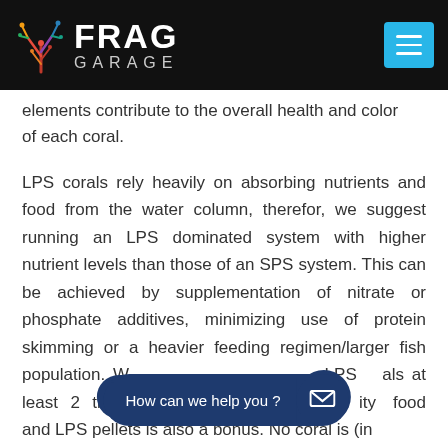FRAG GARAGE
elements contribute to the overall health and color of each coral.
LPS corals rely heavily on absorbing nutrients and food from the water column, therefor, we suggest running an LPS dominated system with higher nutrient levels than those of an SPS system. This can be achieved by supplementation of nitrate or phosphate additives, minimizing use of protein skimming or a heavier feeding regimen/larger fish population. We suggest feeding our LPS corals at least 2 times per week with a high quality food and LPS pellets is also a bonus. No coral is (in...